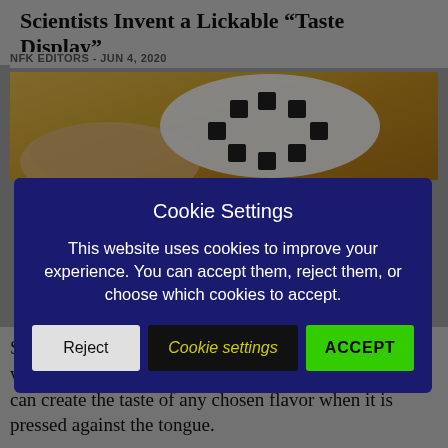Scientists Invent a Lickable “Taste Display”
NFK EDITORS · JUN 4, 2020
[Figure (photo): Photo of a hand holding a white disk-shaped device with small black squares on a yellow-orange background]
Cookie Settings
This website uses cookies to improve your experience. You can accept them, reject them, or choose which cookies to accept.
Reject | Cookie settings | ACCEPT
Scientists at Meiji University in Japan have come up with something they call a “taste display”. The device can create the taste of any chosen flavor when it is pressed against the tongue.